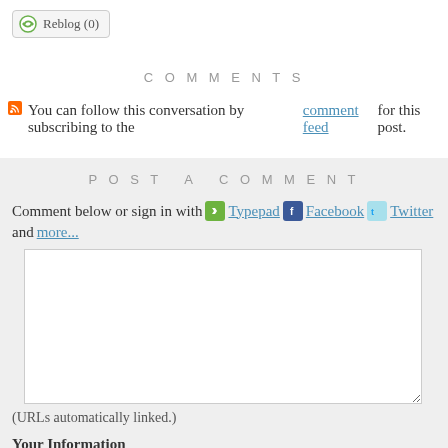[Figure (other): Reblog (0) button with green circular arrow icon]
COMMENTS
You can follow this conversation by subscribing to the comment feed for this post.
POST A COMMENT
Comment below or sign in with Typepad Facebook Twitter and more...
[Figure (other): Text input textarea for comment]
(URLs automatically linked.)
Your Information